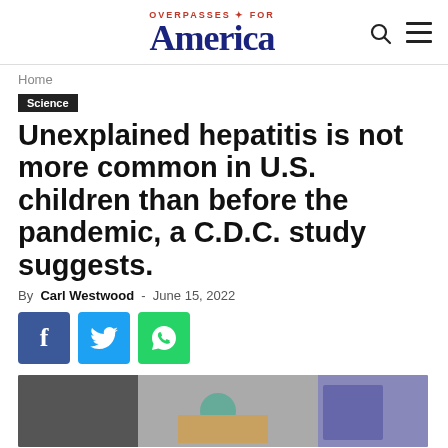OVERPASSES FOR America
Home
Science
Unexplained hepatitis is not more common in U.S. children than before the pandemic, a C.D.C. study suggests.
By Carl Westwood - June 15, 2022
[Figure (photo): Photo showing a child eating at a table with food items visible]
[Figure (other): Facebook, Twitter, and WhatsApp social sharing buttons]